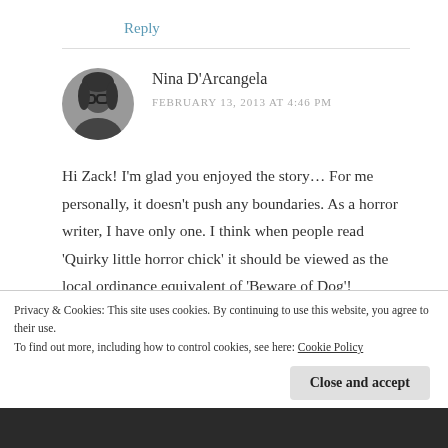Reply
[Figure (photo): Circular avatar photo of Nina D'Arcangela, a woman with glasses, black and white photo]
Nina D'Arcangela
FEBRUARY 13, 2013 AT 4:46 PM
Hi Zack! I'm glad you enjoyed the story… For me personally, it doesn't push any boundaries. As a horror writer, I have only one. I think when people read 'Quirky little horror chick' it should be viewed as the local ordinance equivalent of 'Beware of Dog'!
Privacy & Cookies: This site uses cookies. By continuing to use this website, you agree to their use.
To find out more, including how to control cookies, see here: Cookie Policy
Close and accept